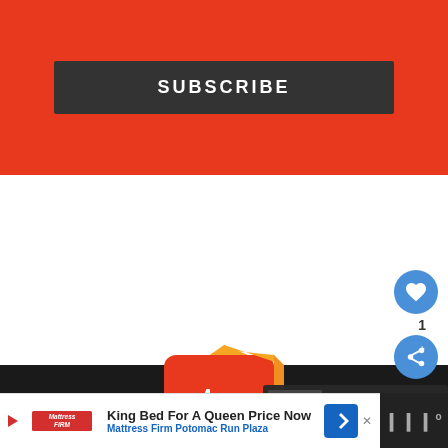[Figure (screenshot): Red/orange subscribe banner with dark SUBSCRIBE button]
SUBSCRIBE
[Figure (logo): TV Shows logo - orange and red 3D television icon with 'tv' text]
TV SHOWS
[Figure (infographic): Heart like button with count 1 and share button in blue circles]
1
[Figure (screenshot): What's Next panel: Jersey Shore Recap: Don'...]
WHAT'S NEXT → 'Jersey Shore' Recap: Don'...
[Figure (screenshot): Mattress Firm advertisement - King Bed For A Queen Price Now, Mattress Firm Potomac Run Plaza]